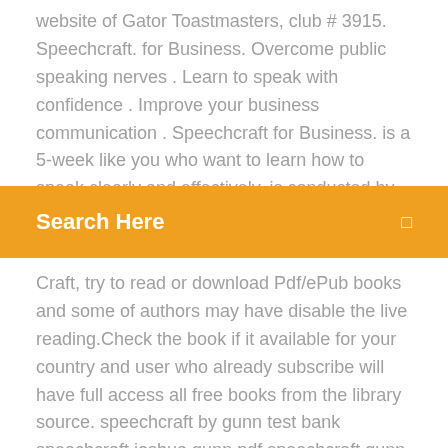website of Gator Toastmasters, club # 3915. Speechcraft. for Business. Overcome public speaking nerves . Learn to speak with confidence . Improve your business communication . Speechcraft for Business. is a 5-week like you who want to learn how to speak clearly and effectively. is conducted by members of the Fl...
[Figure (other): Orange search bar overlay with text 'Search Here' and a search icon on the right]
Craft, try to read or download Pdf/ePub books and some of authors may have disable the live reading.Check the book if it available for your country and user who already subscribe will have full access all free books from the library source. speechcraft by gunn test bank speechcraft joshua gunn pdf speechcraft gunn pdf. Reviews There are no reviews yet. Be the first to review "Speech Craft 1st edition by Gunn Test Bank" Cancel reply. Your email address will not be published. Required fields are marked * Format: PDF, Docs Read: 201. Download